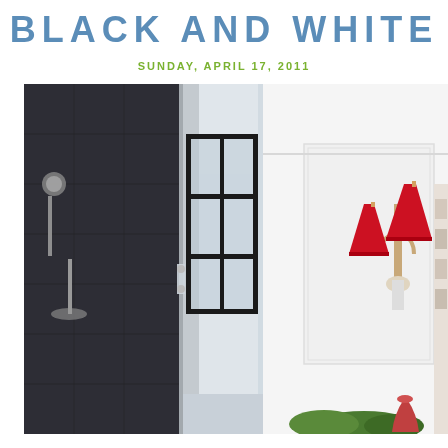BLACK AND WHITE
SUNDAY, APRIL 17, 2011
[Figure (photo): Interior bathroom photo showing a glass-enclosed shower with dark stone/marble walls and black metal framed window partitions. Red lamp shades on a decorative wall sconce visible on the right side. White walls and ceiling with molding. Green plants visible at the bottom right.]